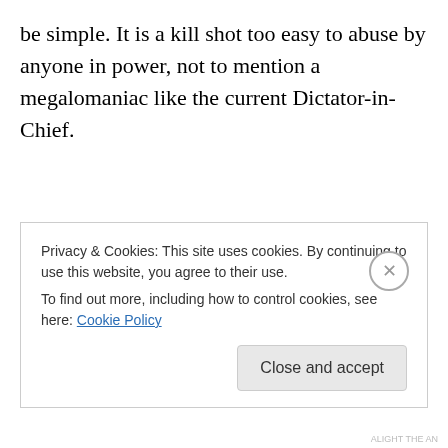be simple. It is a kill shot too easy to abuse by anyone in power, not to mention a megalomaniac like the current Dictator-in-Chief.
The government is ramping up a police state here in America in a big hurry. With the purchase of 1.6 billion rounds of ammo, more guns than can be counted, over 2700 heavily armored MRAPs (vehicles protected against
Privacy & Cookies: This site uses cookies. By continuing to use this website, you agree to their use.
To find out more, including how to control cookies, see here: Cookie Policy